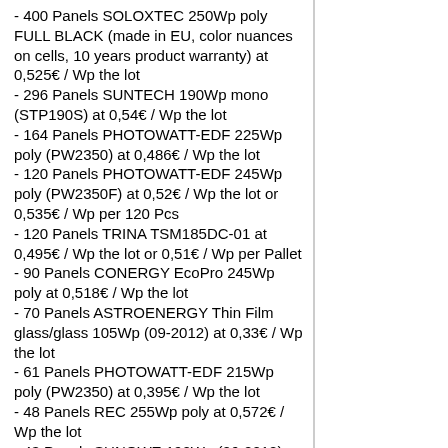- 400 Panels SOLOXTEC 250Wp poly FULL BLACK (made in EU, color nuances on cells, 10 years product warranty) at 0,525€ / Wp the lot
- 296 Panels SUNTECH 190Wp mono (STP190S) at 0,54€ / Wp the lot
- 164 Panels PHOTOWATT-EDF 225Wp poly (PW2350) at 0,486€ / Wp the lot
- 120 Panels PHOTOWATT-EDF 245Wp poly (PW2350F) at 0,52€ / Wp the lot or 0,535€ / Wp per 120 Pcs
- 120 Panels TRINA TSM185DC-01 at 0,495€ / Wp the lot or 0,51€ / Wp per Pallet
- 90 Panels CONERGY EcoPro 245Wp poly at 0,518€ / Wp the lot
- 70 Panels ASTROENERGY Thin Film glass/glass 105Wp (09-2012) at 0,33€ / Wp the lot
- 61 Panels PHOTOWATT-EDF 215Wp poly (PW2350) at 0,395€ / Wp the lot
- 48 Panels REC 255Wp poly at 0,572€ / Wp the lot
- 43 Panels SUNOWE 190Wp (06-2012) mono at 0,52€ / Wp the lot
- 39 Panels GE SOLAR (OEM) 190Wp (2012) poly at 0,50€ / Wp the l
- 19 Panels JSPV 245Wp poly (12-2013) at 0,515€ / Wp the lot
- 16 Panels JA SOLAR 280Wp mono (09-2014) at 0,52€ / Wp the lot